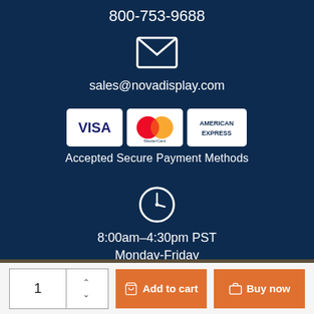800-753-9688
[Figure (illustration): White envelope/email icon]
sales@novadisplay.com
[Figure (illustration): Visa, MasterCard, and American Express payment card logos]
Accepted Secure Payment Methods
[Figure (illustration): Clock icon showing business hours]
8:00am–4:30pm PST
Monday-Friday
1  Add to cart  Buy now